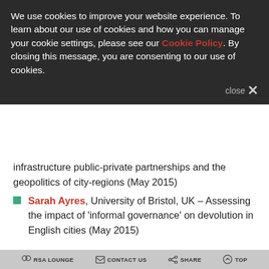We use cookies to improve your website experience. To learn about our use of cookies and how you can manage your cookie settings, please see our Cookie Policy. By closing this message, you are consenting to our use of cookies.
infrastructure public-private partnerships and the geopolitics of city-regions (May 2015)
Sarah Ayres, University of Bristol, UK – Assessing the impact of 'informal governance' on devolution in English cities (May 2015)
Contact us
RSA LOUNGE   CONTACT US   SHARE   TOP